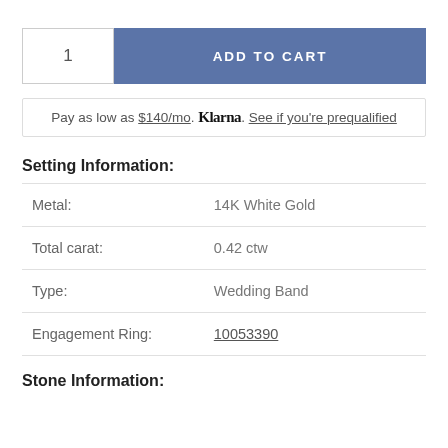1
ADD TO CART
Pay as low as $140/mo. Klarna. See if you're prequalified
Setting Information:
| Metal: | 14K White Gold |
| Total carat: | 0.42 ctw |
| Type: | Wedding Band |
| Engagement Ring: | 10053390 |
Stone Information: